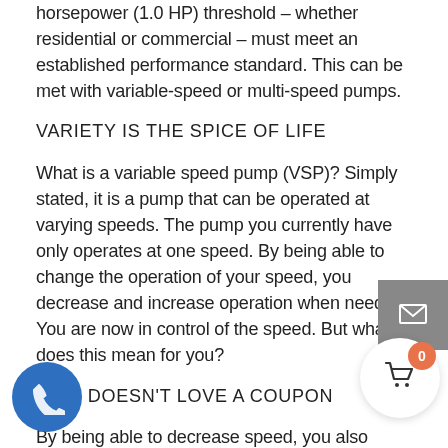horsepower (1.0 HP) threshold – whether residential or commercial – must meet an established performance standard. This can be met with variable-speed or multi-speed pumps.
VARIETY IS THE SPICE OF LIFE
What is a variable speed pump (VSP)? Simply stated, it is a pump that can be operated at varying speeds. The pump you currently have only operates at one speed. By being able to change the operation of your speed, you decrease and increase operation when needed. You are now in control of the speed. But what does this mean for you?
WHO DOESN'T LOVE A COUPON
By being able to decrease speed, you also decrease